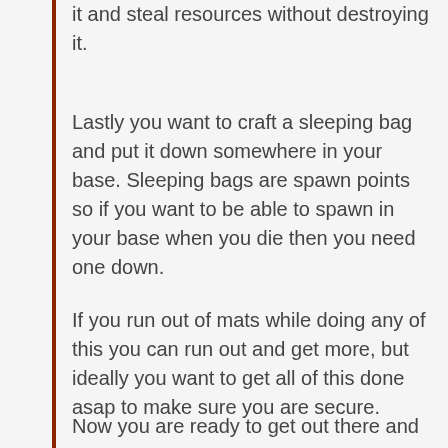it and steal resources without destroying it.
Lastly you want to craft a sleeping bag and put it down somewhere in your base. Sleeping bags are spawn points so if you want to be able to spawn in your base when you die then you need one down.
If you run out of mats while doing any of this you can run out and get more, but ideally you want to get all of this done asap to make sure you are secure.
Now you are ready to get out there and